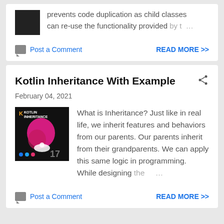prevents code duplication as child classes can re-use the functionality provided by t …
Post a Comment
READ MORE >>
Kotlin Inheritance With Example
February 04, 2021
[Figure (photo): Kotlin Inheritance blog post thumbnail: dark background with Kotlin logo, pink tree graphic, and number 17]
What is Inheritance? Just like in real life, we inherit features and behaviors from our parents. Our parents inherit from their grandparents. We can apply this same logic in programming.  While designing the …
Post a Comment
READ MORE >>